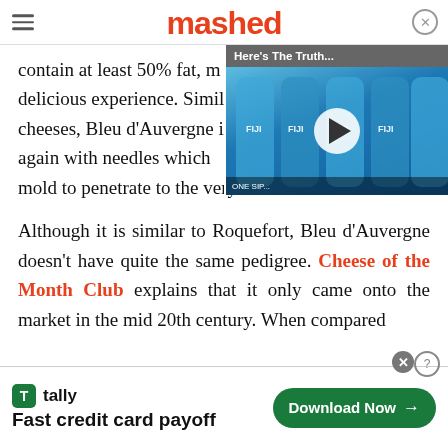mashed
contain at least 50% fat, m[…] delicious experience. Simila[…] cheeses, Bleu d'Auvergne is […] again with needles which a[…] mold to penetrate to the very center of the wheel.
[Figure (screenshot): Video overlay showing 'Here's The Truth...' title over FIJI water bottles with a play button]
Although it is similar to Roquefort, Bleu d'Auvergne doesn't have quite the same pedigree. Cheese of the Month Club explains that it only came onto the market in the mid 20th century. When compared
[Figure (screenshot): Tally advertisement banner: 'Fast credit card payoff' with Download Now button]